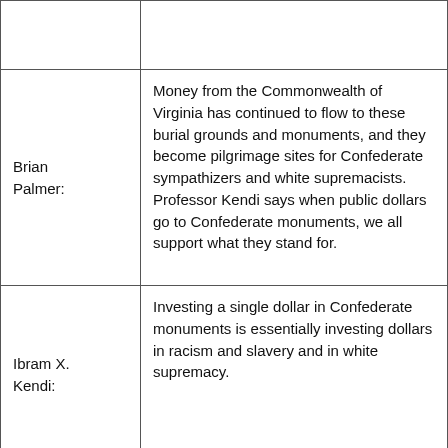|  |  |
| Brian Palmer: | Money from the Commonwealth of Virginia has continued to flow to these burial grounds and monuments, and they become pilgrimage sites for Confederate sympathizers and white supremacists. Professor Kendi says when public dollars go to Confederate monuments, we all support what they stand for. |
| Ibram X. Kendi: | Investing a single dollar in Confederate monuments is essentially investing dollars in racism and slavery and in white supremacy. |
|  | So how much money has the public invested in Confederate cemeteries in Virginia? We want... |